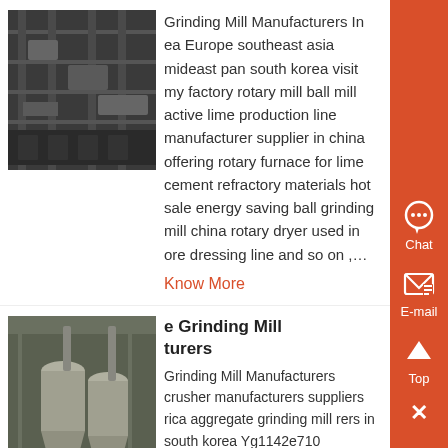[Figure (photo): Industrial grinding mill / machinery equipment photo, dark tones]
Grinding Mill Manufacturers In ea Europe southeast asia mideast pan south korea visit my factory rotary mill ball mill active lime production line manufacturer supplier in china offering rotary furnace for lime cement refractory materials hot sale energy saving ball grinding mill china rotary dryer used in ore dressing line and so on ,...
Know More
[Figure (photo): Industrial grinding mill facility interior with large dust collectors/cyclones]
e Grinding Mill turers
Grinding Mill Manufacturers crusher manufacturers suppliers rica aggregate grinding mill rers in south korea Yg1142e710